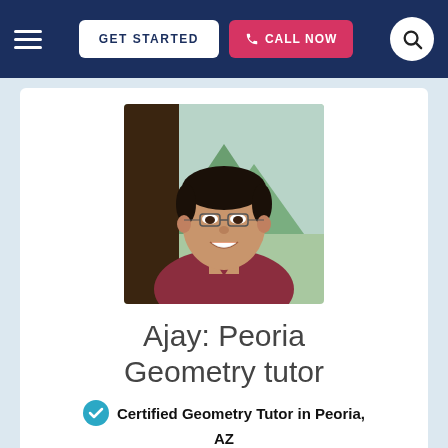GET STARTED | CALL NOW
[Figure (photo): Portrait photo of Ajay, a young man with glasses and short dark hair wearing a maroon v-neck shirt, smiling, with a mountain/nature background.]
Ajay: Peoria Geometry tutor
Certified Geometry Tutor in Peoria, AZ